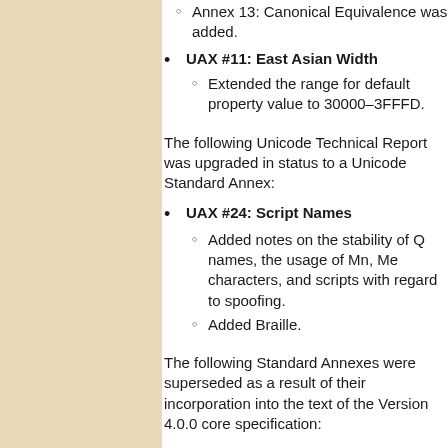Annex 13: Canonical Equivalence was added.
UAX #11: East Asian Width
Extended the range for default property value to 30000–3FFFD.
The following Unicode Technical Report was upgraded in status to a Unicode Standard Annex:
UAX #24: Script Names
Added notes on the stability of Q names, the usage of Mn, Me characters, and scripts with regard to spoofing.
Added Braille.
The following Standard Annexes were superseded as a result of their incorporation into the text of the Version 4.0.0 core specification:
UAX #13: Unicode Newline